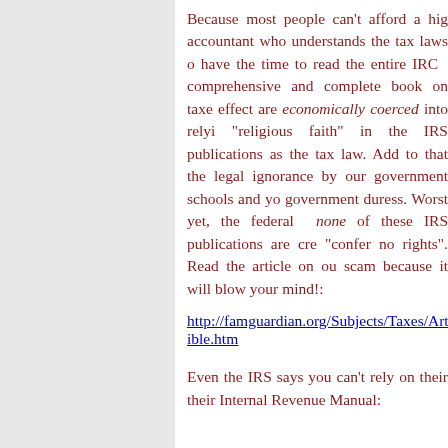Because most people can't afford a high accountant who understands the tax laws or have the time to read the entire IRC comprehensive and complete book on taxes effect are economically coerced into relying "religious faith" in the IRS publications as the tax law. Add to that the legal ignorance by our government schools and you government duress. Worst yet, the federal none of these IRS publications are "confer no rights". Read the article on scam because it will blow your mind!:
http://famguardian.org/Subjects/Taxes/Arti ible.htm
Even the IRS says you can't rely on their their Internal Revenue Manual: